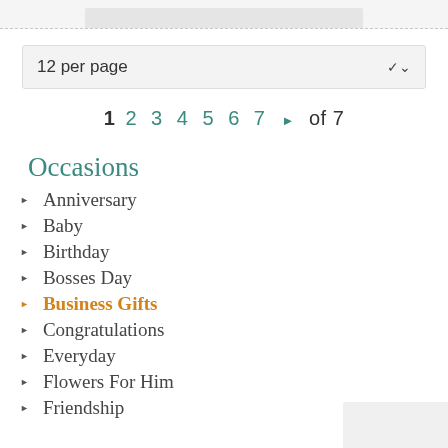12 per page
1  2  3  4  5  6  7  ▶  of 7
Occasions
Anniversary
Baby
Birthday
Bosses Day
Business Gifts
Congratulations
Everyday
Flowers For Him
Friendship